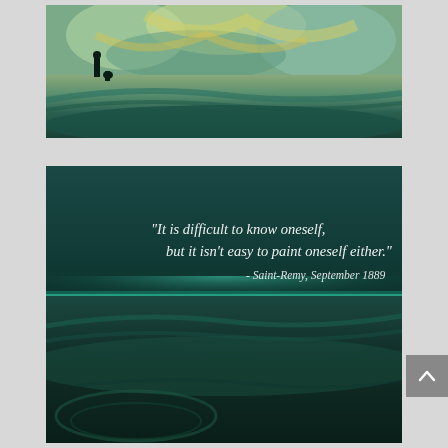[Figure (photo): An immersive art installation or projection room showing two silhouetted figures (people) standing in front of a large colorful projection of swirling Van Gogh-style brushstrokes (greens, teals, yellows, whites). The lower portion shows a dark teal-green swirling floor or landscape.]
[Figure (photo): A dark teal/green immersive projection room showing a horizon with glowing teal light and swirling dark green textured ground below. White cursive text reads: "It is difficult to know oneself, but it isn't easy to paint oneself either." - Saint-Remy, September 1889]